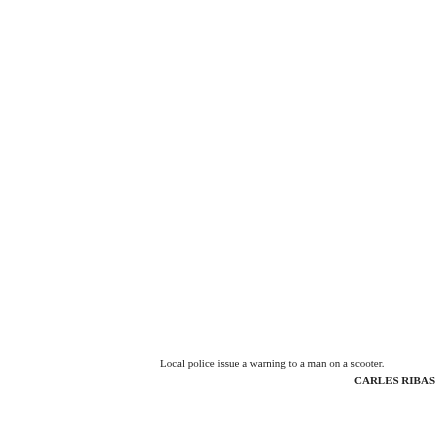Local police issue a warning to a man on a scooter.
CARLES RIBAS